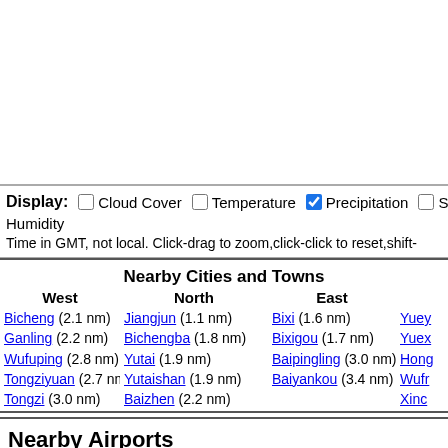Display: □ Cloud Cover □ Temperature ☑ Precipitation □ Solar Humidity
Time in GMT, not local. Click-drag to zoom,click-click to reset,shift-
| West | North | East |  |
| --- | --- | --- | --- |
| Bicheng (2.1 nm)
Ganling (2.2 nm)
Wufuping (2.8 nm)
Tongziyuan (2.7 nm)
Tongzi (3.0 nm) | Jiangjun (1.1 nm)
Bichengba (1.8 nm)
Yutai (1.9 nm)
Yutaishan (1.9 nm)
Baizhen (2.2 nm) | Bixi (1.6 nm)
Bixigou (1.7 nm)
Baipingling (3.0 nm)
Baiyankou (3.4 nm) | Yuey...
Yuex...
Hong...
Wufr...
Xinc... |
Nearby Airports